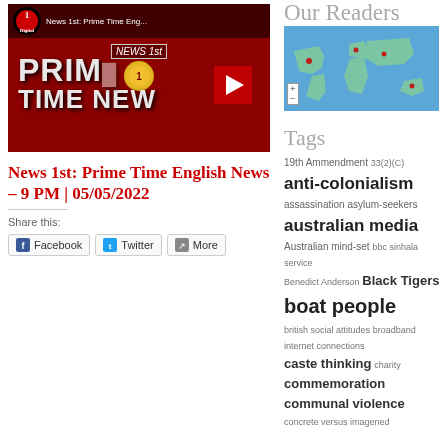[Figure (screenshot): YouTube video thumbnail for 'News 1st: Prime Time English News' showing red background with large white text 'PRIME TIME NEW' and a YouTube play button]
News 1st: Prime Time English News – 9 PM | 05/05/2022
Share this:
Facebook
Twitter
More
Our Readers
[Figure (map): World map showing 39 Pageviews Jun 29th - Jul 29th with reader locations marked]
Tags
19th Ammendment  33(2)(C)  anti-colonialism  assassination  asylum-seekers  australian media  Australian mind-set  bbc sinhala service  Benedict Anderson  Black Tigers  boat people  british social attitudes  broadband internet connections  caste thinking  charity  commemoration  communal violence  concrete versus imagened